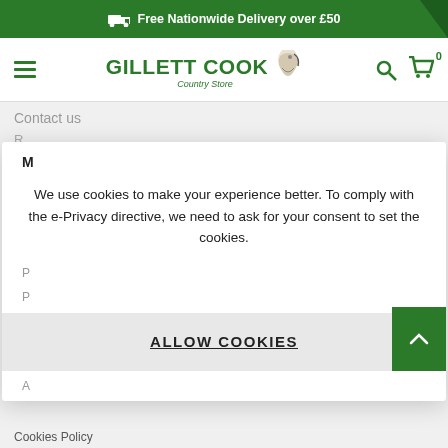Free Nationwide Delivery over £50
[Figure (screenshot): Gillett Cook Country Store navigation bar with hamburger menu, logo, search icon, and cart icon showing 0 items]
Contact us
R...
D...
We use cookies to make your experience better. To comply with the e-Privacy directive, we need to ask for your consent to set the cookies.
ALLOW COOKIES
P...
P...
T...
A...
Cookies Policy